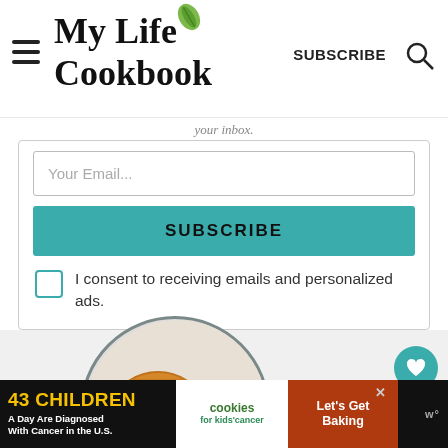My Life Cookbook — SUBSCRIBE
your inbox.
Your Email...
SUBSCRIBE
I consent to receiving emails and personalized ads.
[Figure (photo): Circular photo of breaded chicken with mango vegetable salsa on a white plate with dark rim]
43 CHILDREN A Day Are Diagnosed With Cancer in the U.S. cookies for kids' cancer Let's Get Baking